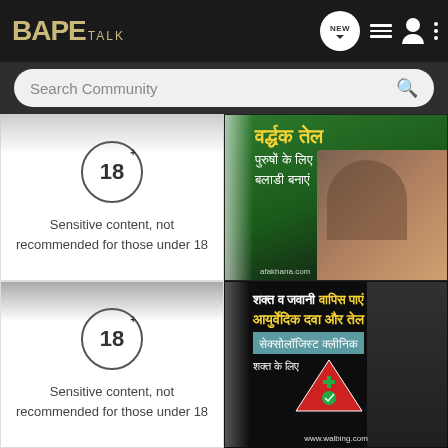[Figure (screenshot): BAPE TALK app navigation bar with logo, NEW button, list icon, profile icon, and options menu]
[Figure (screenshot): Search Community search bar with magnifying glass icon]
[Figure (screenshot): Card showing 18+ age ring icon with text: Sensitive content, not recommended for those under 18]
[Figure (photo): Ad image with Hindi text about ayurvedic oil (वर्धक तेल, पुरुषों के लिए, बनाएं) with couple photo and watermark safakhana.com]
[Figure (screenshot): Card showing 18+ age ring icon with text: Sensitive content, not recommended for those under 18]
[Figure (photo): Ad image with Hindi text (शक्त व जवानी वापिस पाएं, आयुर्वेदिक दवा और तेल, सेक्सोलॉजिस्ट क्लीनिक, शक्त के लिए) with red triangle medical logo and watermark www.walbing.com]